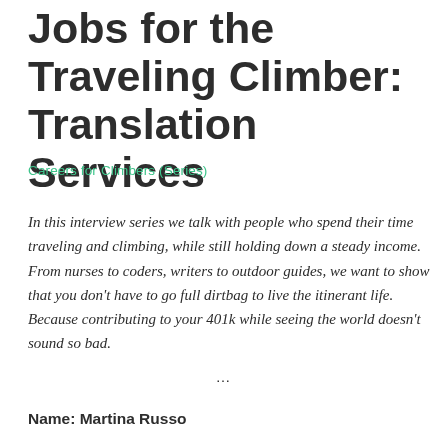Jobs for the Traveling Climber: Translation Services
Careers for Climbers (Series)
In this interview series we talk with people who spend their time traveling and climbing, while still holding down a steady income. From nurses to coders, writers to outdoor guides, we want to show that you don't have to go full dirtbag to live the itinerant life. Because contributing to your 401k while seeing the world doesn't sound so bad.
…
Name: Martina Russo